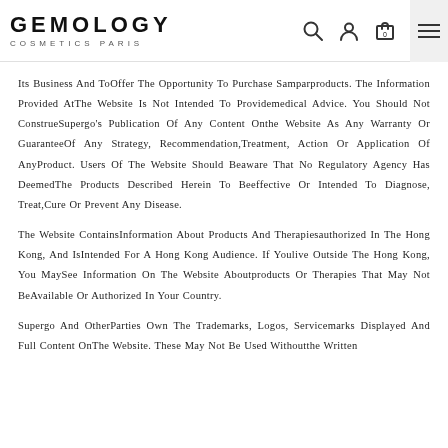GEMOLOGY COSMETICS PARIS
Its Business And ToOffer The Opportunity To Purchase Samparproducts. The Information Provided AtThe Website Is Not Intended To Providemedical Advice. You Should Not ConstrueSupergo's Publication Of Any Content Onthe Website As Any Warranty Or GuaranteeOf Any Strategy, Recommendation,Treatment, Action Or Application Of AnyProduct. Users Of The Website Should Beaware That No Regulatory Agency Has DeemedThe Products Described Herein To Beeffective Or Intended To Diagnose, Treat,Cure Or Prevent Any Disease.
The Website ContainsInformation About Products And Therapiesauthorized In The Hong Kong, And IsIntended For A Hong Kong Audience. If Youlive Outside The Hong Kong, You MaySee Information On The Website Aboutproducts Or Therapies That May Not BeAvailable Or Authorized In Your Country.
Supergo And OtherParties Own The Trademarks, Logos, Servicemarks Displayed And Full Content OnThe Website. These May Not Be Used Withoutthe Written